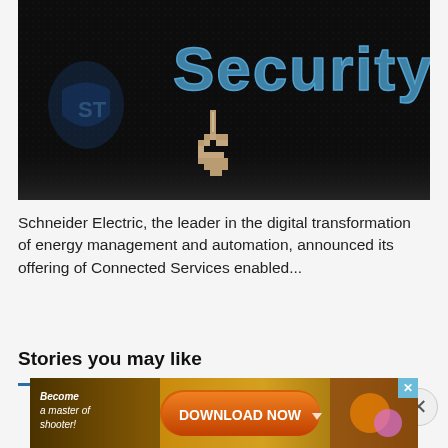[Figure (photo): Close-up of a dark computer screen showing the word 'Security' in blue pixel/dotted text, with a pixelated white cursor/hand pointer icon in the center. A blurred shield icon with 'ST' is visible on the left side.]
Schneider Electric, the leader in the digital transformation of energy management and automation, announced its offering of Connected Services enabled...
Stories you may like
[Figure (screenshot): Advertisement banner: 'Become a master of shooter! DOWNLOAD NOW' with game imagery on a golden/orange background. An X close button is visible at the top right of the banner.]